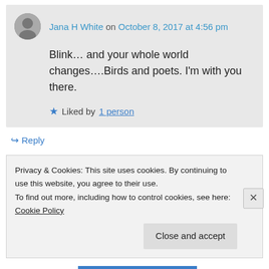Jana H White on October 8, 2017 at 4:56 pm
Blink… and your whole world changes….Birds and poets. I'm with you there.
Liked by 1 person
Reply
Privacy & Cookies: This site uses cookies. By continuing to use this website, you agree to their use.
To find out more, including how to control cookies, see here: Cookie Policy
Close and accept